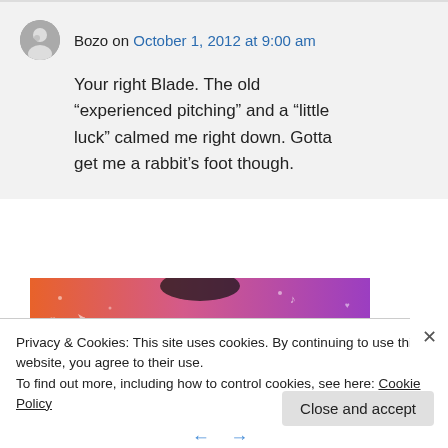Bozo on October 1, 2012 at 9:00 am

Your right Blade. The old “experienced pitching” and a “little luck” calmed me right down. Gotta get me a rabbit’s foot though.
[Figure (illustration): Tumblr advertisement banner with colorful orange and purple gradient background showing the Tumblr logo in white text]
Privacy & Cookies: This site uses cookies. By continuing to use this website, you agree to their use.
To find out more, including how to control cookies, see here: Cookie Policy
Close and accept